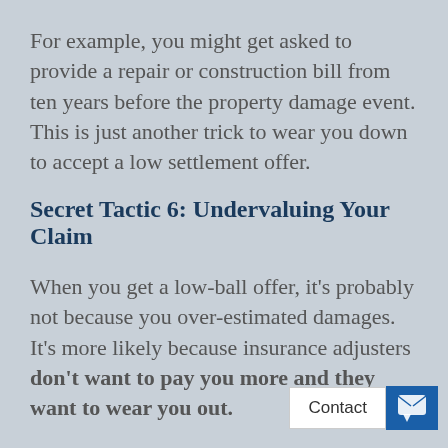For example, you might get asked to provide a repair or construction bill from ten years before the property damage event. This is just another trick to wear you down to accept a low settlement offer.
Secret Tactic 6: Undervaluing Your Claim
When you get a low-ball offer, it's probably not because you over-estimated damages. It's more likely because insurance adjusters don't want to pay you more and they want to wear you out.
The most common way this occurs is by claiming repairs can be completed at less than the real price.